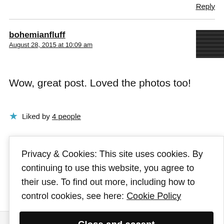Reply
bohemianfluff
August 28, 2015 at 10:09 am
Wow, great post. Loved the photos too!
★ Liked by 4 people
Reply
Privacy & Cookies: This site uses cookies. By continuing to use this website, you agree to their use. To find out more, including how to control cookies, see here: Cookie Policy
Close and accept